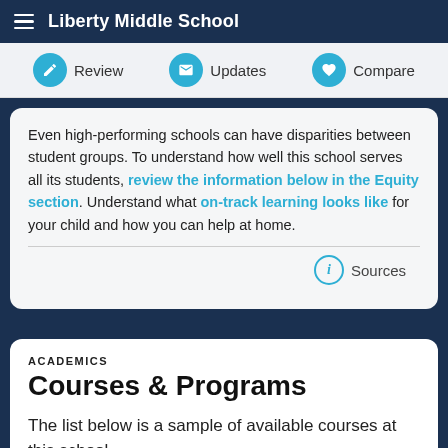Liberty Middle School
Review | Updates | Compare
Even high-performing schools can have disparities between student groups. To understand how well this school serves all its students, review the information below in the Equity section. Understand what on-track learning looks like for your child and how you can help at home.
Sources
ACADEMICS
Courses & Programs
The list below is a sample of available courses at this school.